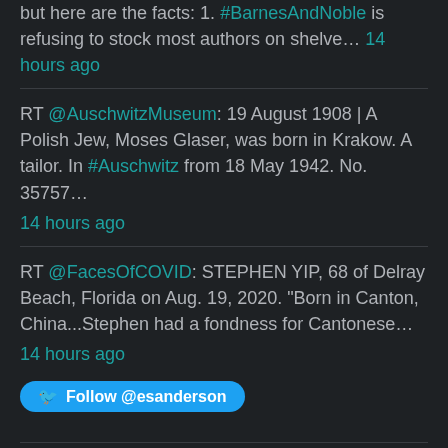but here are the facts: 1. #BarnesAndNoble is refusing to stock most authors on shelve… 14 hours ago
RT @AuschwitzMuseum: 19 August 1908 | A Polish Jew, Moses Glaser, was born in Krakow. A tailor. In #Auschwitz from 18 May 1942. No. 35757… 14 hours ago
RT @FacesOfCOVID: STEPHEN YIP, 68 of Delray Beach, Florida on Aug. 19, 2020. "Born in Canton, China...Stephen had a fondness for Cantonese… 14 hours ago
[Figure (other): Follow @esanderson Twitter button]
RSS